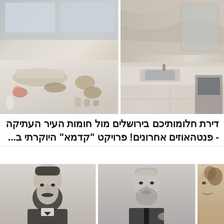[Figure (photo): Aerial/overhead view of a luxury apartment interior in Jerusalem, showing a living room with marble floors, modern furniture, and a kitchen with marble countertops]
דירת חלומותיכם בירושלים מול חומות העיר העתיקה - פנטהאוזים אחרונים! פרויקט "קדמא" היוקרתי ב...
[Figure (photo): Three black and white portrait photographs of Jewish historical figures - from left: Theodor Herzl (man with large beard), Sigmund Freud (elderly man with grey beard), and a woman (sepia-toned portrait of a smiling woman with curly hair)]